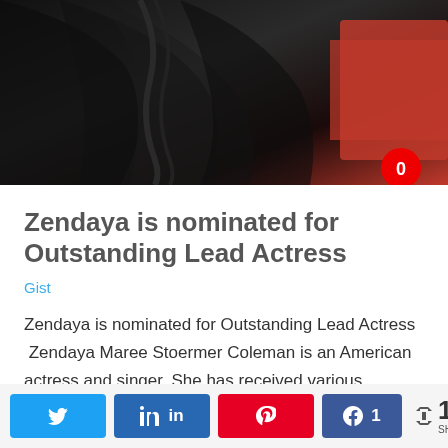[Figure (photo): Dark photo of a person with long wavy/braided hair, with a red background element visible. A red speech bubble with '0' appears in the lower right corner of the photo.]
Zendaya is nominated for Outstanding Lead Actress
Gist
Zendaya is nominated for Outstanding Lead Actress  Zendaya Maree Stoermer Coleman is an American actress and singer. She has received various accolades, including a Primetime Emmy
Twitter share button, LinkedIn share button, Pinterest share button, Facebook share button with count 1, Share icon with 1 SHARES